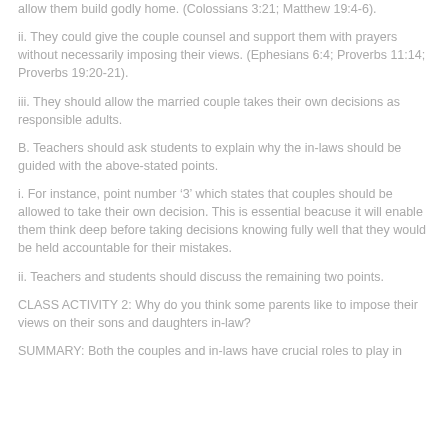allow them build godly home. (Colossians 3:21; Matthew 19:4-6).
ii. They could give the couple counsel and support them with prayers without necessarily imposing their views. (Ephesians 6:4; Proverbs 11:14; Proverbs 19:20-21).
iii. They should allow the married couple takes their own decisions as responsible adults.
B. Teachers should ask students to explain why the in-laws should be guided with the above-stated points.
i. For instance, point number ‘3’ which states that couples should be allowed to take their own decision. This is essential beacuse it will enable them think deep before taking decisions knowing fully well that they would be held accountable for their mistakes.
ii. Teachers and students should discuss the remaining two points.
CLASS ACTIVITY 2: Why do you think some parents like to impose their views on their sons and daughters in-law?
SUMMARY: Both the couples and in-laws have crucial roles to play in